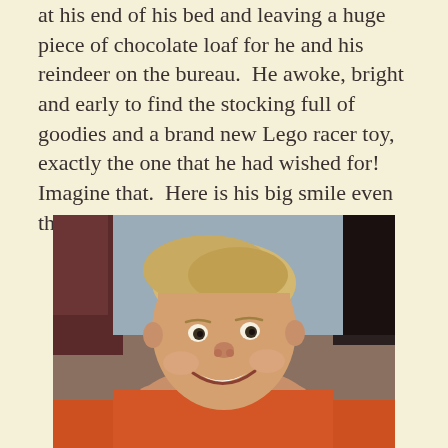at his end of his bed and leaving a huge piece of chocolate loaf for he and his reindeer on the bureau.  He awoke, bright and early to find the stocking full of goodies and a brand new Lego racer toy, exactly the one that he had wished for!  Imagine that.  Here is his big smile even though his Christmas
[Figure (photo): A young smiling boy with blonde hair, shirtless, sitting on an orange surface. The photo appears to be a vintage/older photograph.]